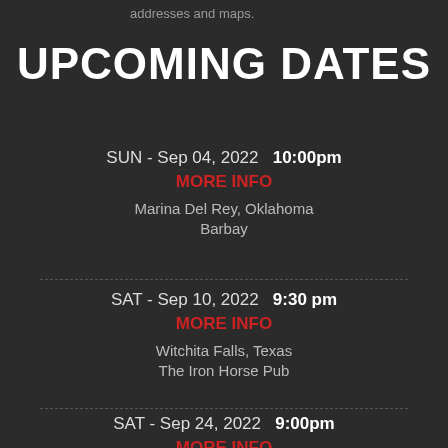addresses and maps.
UPCOMING DATES
SUN - Sep 04, 2022  10:00pm
MORE INFO
Marina Del Rey, Oklahoma
Barbay
SAT - Sep 10, 2022  9:30 pm
MORE INFO
Witchita Falls, Texas
The Iron Horse Pub
SAT - Sep 24, 2022  9:00pm
MORE INFO
The Colony, Texas